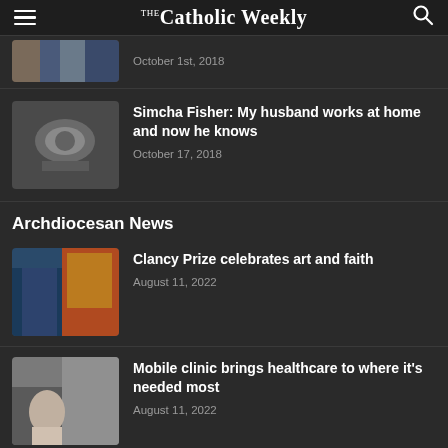The Catholic Weekly
[Figure (photo): Partial image at top, partially cropped]
October 1st, 2018
[Figure (photo): Overhead view of dishes in a sink with bowls and cups]
Simcha Fisher: My husband works at home and now he knows
October 17, 2018
Archdiocesan News
[Figure (photo): Person standing in front of colorful artwork]
Clancy Prize celebrates art and faith
August 11, 2022
[Figure (photo): Man standing outside a building]
Mobile clinic brings healthcare to where it's needed most
August 11, 2022
[Figure (photo): Partially visible image at bottom of page]